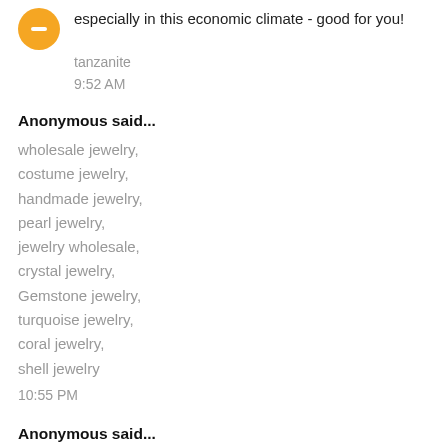especially in this economic climate - good for you!
tanzanite
9:52 AM
Anonymous said...
wholesale jewelry,
costume jewelry,
handmade jewelry,
pearl jewelry,
jewelry wholesale,
crystal jewelry,
Gemstone jewelry,
turquoise jewelry,
coral jewelry,
shell jewelry
10:55 PM
Anonymous said...
Want to go to tibet tour? You can rely on us! We are expert in tour in tibet. based in Tibet 15 years experience,